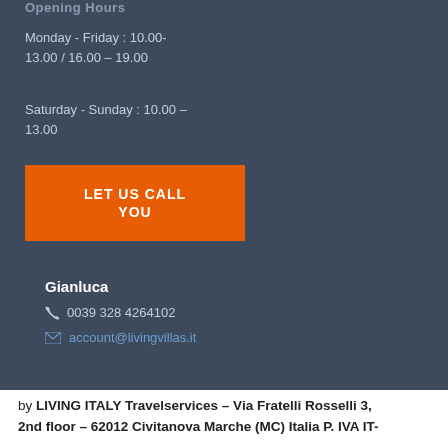Opening Hours
Monday - Friday : 10.00-13.00 / 16.00 – 19.00
Saturday - Sunday : 10.00 – 13.00
LET US CALL YOU
Gianluca
0039 328 4264102
account@livingvillas.it
by LIVING ITALY Travelservices – Via Fratelli Rosselli 3, 2nd floor – 62012 Civitanova Marche (MC) Italia P. IVA IT-